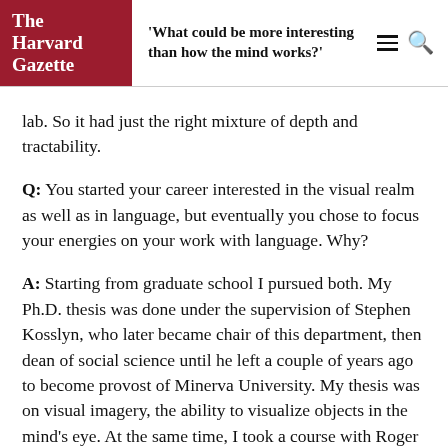The Harvard Gazette | 'What could be more interesting than how the mind works?'
lab. So it had just the right mixture of depth and tractability.
Q: You started your career interested in the visual realm as well as in language, but eventually you chose to focus your energies on your work with language. Why?
A: Starting from graduate school I pursued both. My Ph.D. thesis was done under the supervision of Stephen Kosslyn, who later became chair of this department, then dean of social science until he left a couple of years ago to become provost of Minerva University. My thesis was on visual imagery, the ability to visualize objects in the mind's eye. At the same time, I took a course with Roger Brown, the